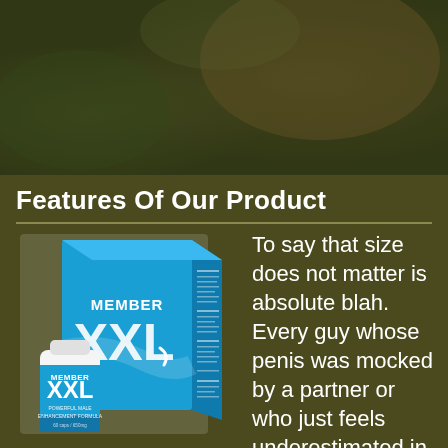[Figure (photo): Blurred background image with dark olive/green tones, showing an out-of-focus natural or urban scene used as background for the product advertisement page.]
Features Of Our Product
[Figure (photo): Product image showing Member XXL box and bottle. The box is blue with 'MEMBER XXL' branding and text panels. The bottle is white with a blue label reading 'MEMBER XXL POWERFUL MALE ENHANCEMENT FORMULA'.]
To say that size does not matter is absolute blah. Every guy whose penis was mocked by a partner or who just feels underestimated in bed is